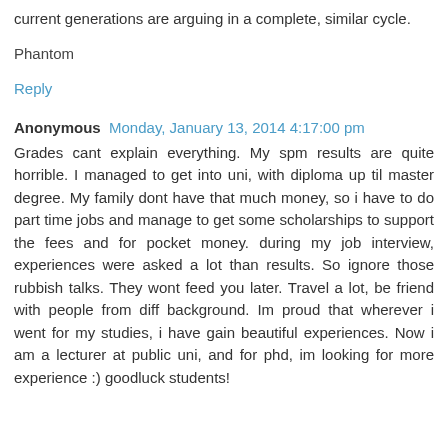current generations are arguing in a complete, similar cycle.
Phantom
Reply
Anonymous  Monday, January 13, 2014 4:17:00 pm
Grades cant explain everything. My spm results are quite horrible. I managed to get into uni, with diploma up til master degree. My family dont have that much money, so i have to do part time jobs and manage to get some scholarships to support the fees and for pocket money. during my job interview, experiences were asked a lot than results. So ignore those rubbish talks. They wont feed you later. Travel a lot, be friend with people from diff background. Im proud that wherever i went for my studies, i have gain beautiful experiences. Now i am a lecturer at public uni, and for phd, im looking for more experience :) goodluck students!